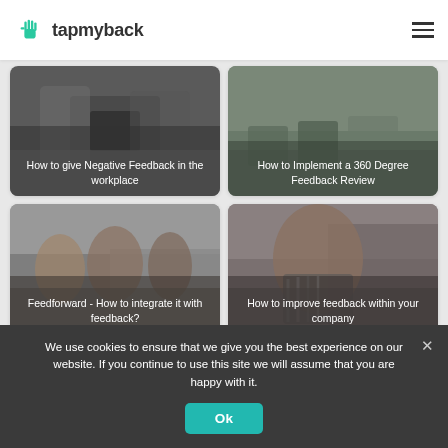[Figure (logo): tapmyback logo with green hand icon and text]
[Figure (photo): Card image: person using phone - How to give Negative Feedback in the workplace]
[Figure (photo): Card image: people in meeting - How to Implement a 360 Degree Feedback Review]
[Figure (photo): Card image: group of people at table - Feedforward - How to integrate it with feedback?]
[Figure (photo): Card image: woman looking at tablet - How to improve feedback within your company]
We use cookies to ensure that we give you the best experience on our website. If you continue to use this site we will assume that you are happy with it.
Ok